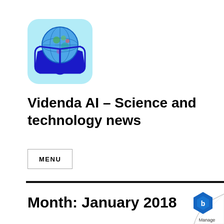[Figure (logo): Light blue rounded square logo with a globe sitting on top of an open book in dark blue, representing Videnda AI science and technology news app icon]
Videnda AI – Science and technology news
MENU
Month: January 2018
[Figure (logo): Page curl effect in bottom right corner with a blue hexagonal Manage logo icon and 'Manage' text]